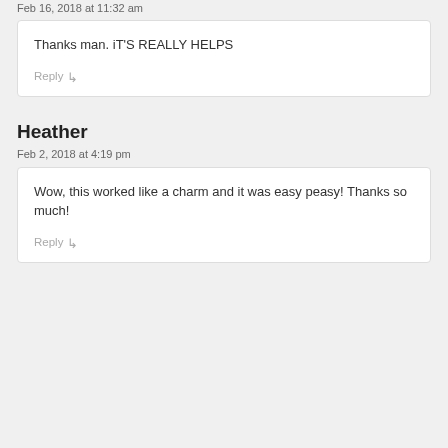Feb 16, 2018 at 11:32 am
Thanks man. iT'S REALLY HELPS
Reply ↳
Heather
Feb 2, 2018 at 4:19 pm
Wow, this worked like a charm and it was easy peasy! Thanks so much!
Reply ↳